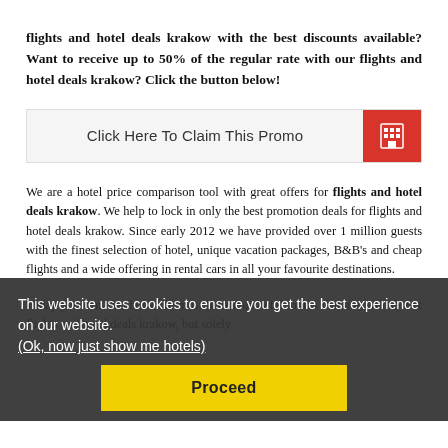flights and hotel deals krakow with the best discounts available? Want to receive up to 50% of the regular rate with our flights and hotel deals krakow? Click the button below!
[Figure (other): Call-to-action button reading 'Click Here To Claim This Promo' with a red hotel icon button on the right]
We are a hotel price comparison tool with great offers for flights and hotel deals krakow. We help to lock in only the best promotion deals for flights and hotel deals krakow. Since early 2012 we have provided over 1 million guests with the finest selection of hotel, unique vacation packages, B&B's and cheap flights and a wide offering in rental cars in all your favourite destinations.
Today you can also book the most luxurious hotel rooms that are available at flights and hotel deals krakow, but solely
This website uses cookies to ensure you get the best experience on our website. (Ok, now just show me hotels)
Proceed